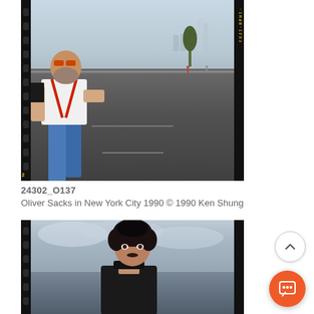[Figure (photo): Film negative style photograph of Oliver Sacks standing on a road or highway in New York City, 1990. The man has a grey beard, wears a white short-sleeve shirt with red suspenders and blue trousers, and holds a book. City skyline visible in background. Film strip borders visible on left and right edges with yellow text markings.]
24302_O137
Oliver Sacks in New York City 1990 © 1990 Ken Shung
[Figure (photo): Film negative style photograph showing a young man with dark curly hair wearing a dark turtleneck, looking over his shoulder at the camera against a cloudy sky background. Film strip borders visible on left and right edges.]